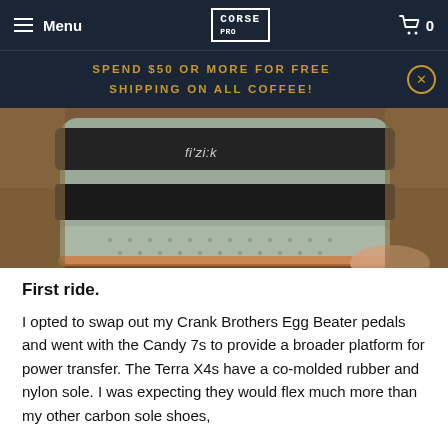Menu | CORSA PRO | 0
SPEND $50 OR MORE FOR FREE SHIPPING ON ALL COFFEE!
[Figure (photo): Close-up photo of a cycling shoe sole being held by a person, showing fizik branding on the velcro strap and a perforated grey/rubber sole against a warm blurred background.]
First ride.
I opted to swap out my Crank Brothers Egg Beater pedals and went with the Candy 7s to provide a broader platform for power transfer. The Terra X4s have a co-molded rubber and nylon sole. I was expecting they would flex much more than my other carbon sole shoes,